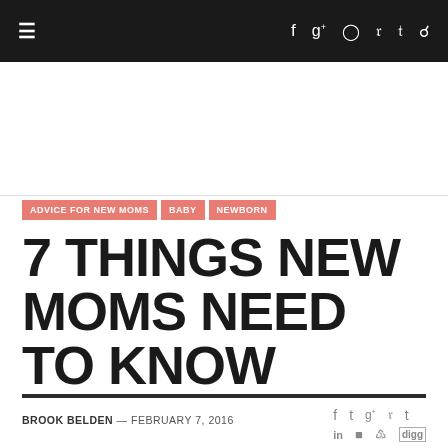≡  f  g+  ◎  p  t  🔍
[Figure (other): Advertisement / blank white space area below nav bar]
ADVICE FOR NEW MOMS | BABY | NEWBORN
7 THINGS NEW MOMS NEED TO KNOW
BROOK BELDEN — FEBRUARY 7, 2016